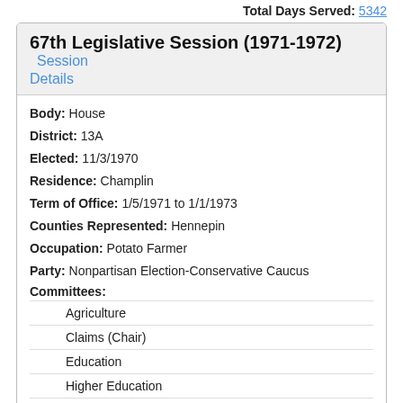Total Days Served: 5342
67th Legislative Session (1971-1972) Session Details
Body: House
District: 13A
Elected: 11/3/1970
Residence: Champlin
Term of Office: 1/5/1971 to 1/1/1973
Counties Represented: Hennepin
Occupation: Potato Farmer
Party: Nonpartisan Election-Conservative Caucus
Committees:
| Agriculture |
| Claims (Chair) |
| Education |
| Higher Education |
| Metropolitan and Urban Affairs |
| Natural Resources |